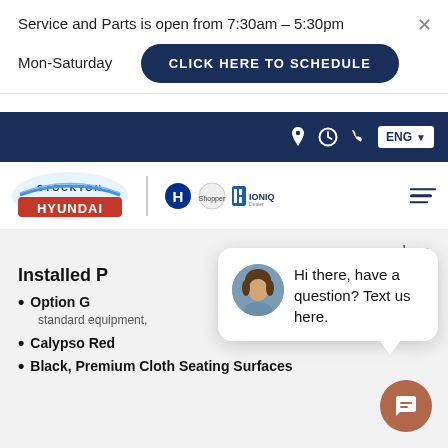Service and Parts is open from 7:30am – 5:30pm Mon-Saturday
CLICK HERE TO SCHEDULE
[Figure (screenshot): Dark navy navigation bar with location pin icon, clock icon, phone icon, and ENG language selector button]
[Figure (logo): Stockton Hyundai logo with Hyundai, Shopper Assurance, and IONIQ Dealer brand icons]
close
Installed P
Option G
standard equipment,
Calypso Red
Black, Premium Cloth Seating Surfaces
Hi there, have a question? Text us here.